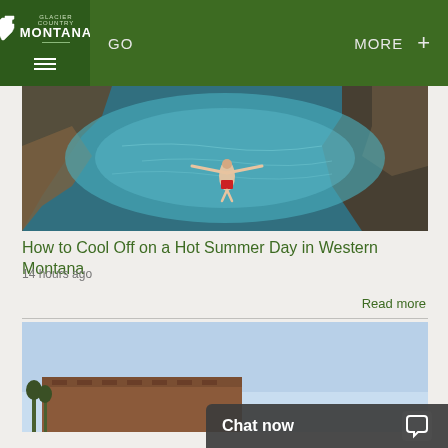Glacier Country Montana — GO  MORE +
[Figure (photo): Aerial view of a person in red swim shorts floating in clear blue-green water surrounded by rocky outcrops]
How to Cool Off on a Hot Summer Day in Western Montana
14 hours ago
Read more
[Figure (photo): Partial view of a building with trees against a blue sky, partially obscured by a chat widget overlay]
Chat now